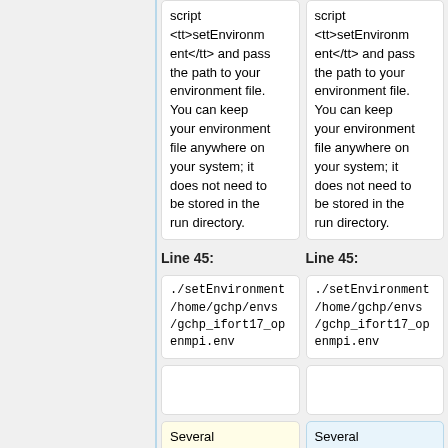script <tt>setEnvironment</tt> and pass the path to your environment file. You can keep your environment file anywhere on your system; it does not need to be stored in the run directory.
script <tt>setEnvironment</tt> and pass the path to your environment file. You can keep your environment file anywhere on your system; it does not need to be stored in the run directory.
Line 45:
Line 45:
./setEnvironment /home/gchp/envs/gchp_ifort17_openmpi.env
./setEnvironment /home/gchp/envs/gchp_ifort17_openmpi.env
Several examples of
Several examples of